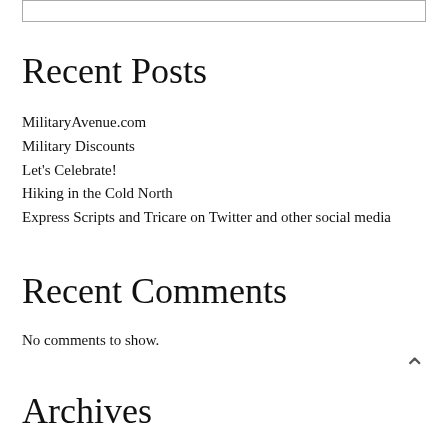[Figure (other): Empty search box / input field at the top of the page]
Recent Posts
MilitaryAvenue.com
Military Discounts
Let's Celebrate!
Hiking in the Cold North
Express Scripts and Tricare on Twitter and other social media
Recent Comments
No comments to show.
Archives